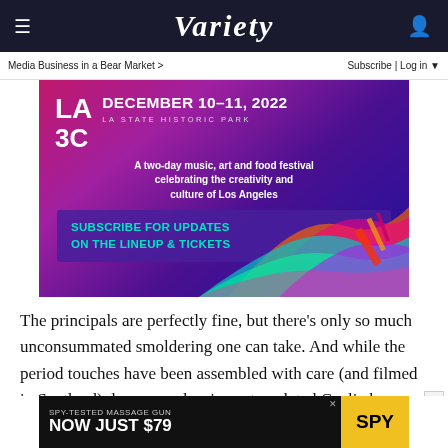≡  VARIETY  👤
Media Business in a Bear Market >    Subscribe | Log in ▼
[Figure (infographic): LA3C festival advertisement: December 10–11, 2022, LA State Historic Park. A two-day music, art and food festival celebrating the creativity and culture of Los Angeles. Subscribe for updates on the lineup & tickets. Colorful brush strokes background.]
The principals are perfectly fine, but there's only so much unconsummated smoldering one can take. And while the period touches have been assembled with care (and filmed in Scotland), long speeches in un-translated Gaelic have a
[Figure (infographic): Bottom advertisement: SPY-TESTED MASSAGE GUN NOW JUST $79 with SPY logo in yellow]